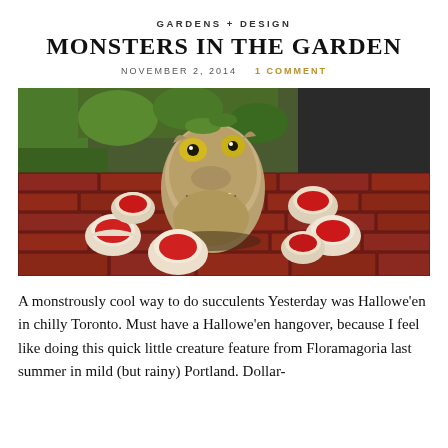GARDENS + DESIGN
MONSTERS IN THE GARDEN
NOVEMBER 2, 2014   1 COMMENT
[Figure (photo): A monster ceramic head sculpture with yellow eyes and open mouth, surrounded by white shells containing red powder/sand, displayed on a brick surface with greenery in the background.]
A monstrously cool way to do succulents Yesterday was Hallowe'en in chilly Toronto. Must have a Hallowe'en hangover, because I feel like doing this quick little creature feature from Floramagoria last summer in mild (but rainy) Portland. Dollar-